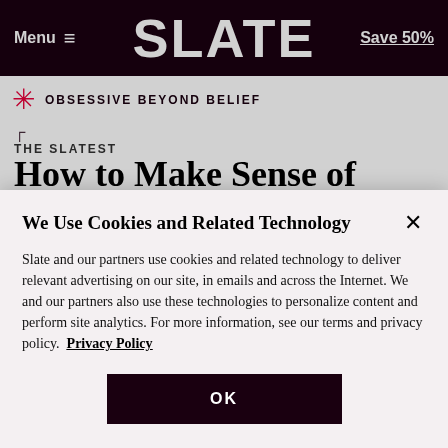Menu  SLATE  Save 50%
OBSESSIVE BEYOND BELIEF
THE SLATEST
How to Make Sense of Category 4 Hurricane Joaquin's Unknowable Path
We Use Cookies and Related Technology
Slate and our partners use cookies and related technology to deliver relevant advertising on our site, in emails and across the Internet. We and our partners also use these technologies to personalize content and perform site analytics. For more information, see our terms and privacy policy.  Privacy Policy
OK